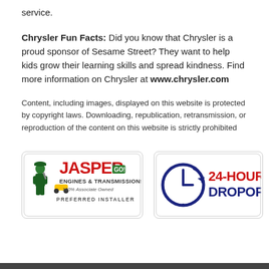service.
Chrysler Fun Facts: Did you know that Chrysler is a proud sponsor of Sesame Street? They want to help kids grow their learning skills and spread kindness. Find more information on Chrysler at www.chrysler.com
Content, including images, displayed on this website is protected by copyright laws. Downloading, republication, retransmission, or reproduction of the content on this website is strictly prohibited
[Figure (logo): Jasper Engines & Transmissions 100% Associate Owned - Preferred Installer logo]
[Figure (logo): 24-Hour Dropoff logo with clock icon]